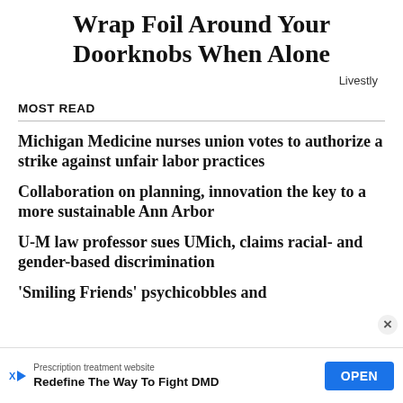Wrap Foil Around Your Doorknobs When Alone
Livestly
MOST READ
Michigan Medicine nurses union votes to authorize a strike against unfair labor practices
Collaboration on planning, innovation the key to a more sustainable Ann Arbor
U-M law professor sues UMich, claims racial- and gender-based discrimination
'Smiling Friends' psychicobbles and
Prescription treatment website
Redefine The Way To Fight DMD
OPEN